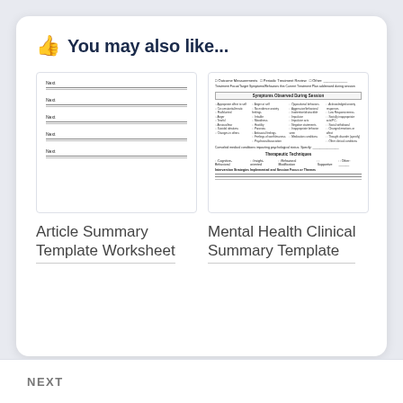You may also like...
[Figure (screenshot): Preview thumbnail of Article Summary Template Worksheet showing lined fields labeled 'Next']
Article Summary Template Worksheet
[Figure (screenshot): Preview thumbnail of Mental Health Clinical Summary Template with checkboxes, sections for Symptoms Observed During Session and Therapeutic Techniques]
Mental Health Clinical Summary Template
NEXT